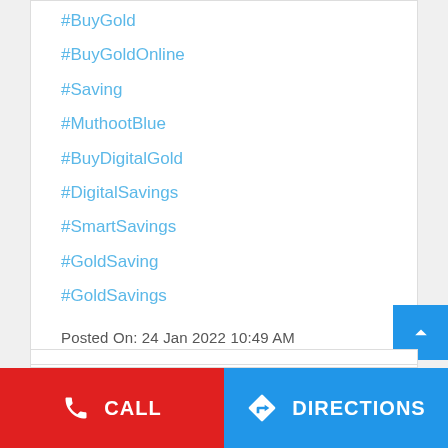#BuyGold
#BuyGoldOnline
#Saving
#MuthootBlue
#BuyDigitalGold
#DigitalSavings
#SmartSavings
#GoldSaving
#GoldSavings
Posted On: 24 Jan 2022 10:49 AM
CALL | DIRECTIONS